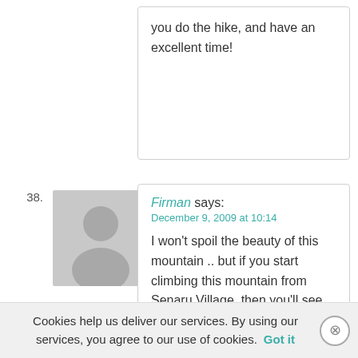you do the hike, and have an excellent time!
Firman says:
December 9, 2009 at 10:14

I won't spoil the beauty of this mountain .. but if you start climbing this mountain from Senaru Village, then you'll see what i mean at Plawangan Senaru!

Amazing, simply amazing! No wonder this mountain got a lot visits from climbers around the globe! You should
Cookies help us deliver our services. By using our services, you agree to our use of cookies. Got it